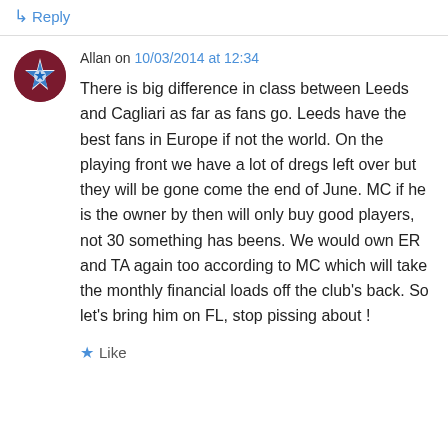↵ Reply
Allan on 10/03/2014 at 12:34
There is big difference in class between Leeds and Cagliari as far as fans go. Leeds have the best fans in Europe if not the world. On the playing front we have a lot of dregs left over but they will be gone come the end of June. MC if he is the owner by then will only buy good players, not 30 something has beens. We would own ER and TA again too according to MC which will take the monthly financial loads off the club's back. So let's bring him on FL, stop pissing about !
★ Like